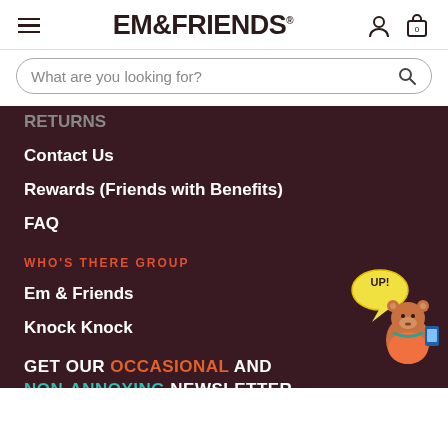EM&FRIENDS
What are you looking for?
RETURNS (partial, cut off)
Contact Us
Rewards (Friends with Benefits)
FAQ
WHO'S THERE GROUP
Em & Friends
Knock Knock
[Figure (illustration): Bear mascot character holding a phone with a yellow speech bubble saying UP!]
GET OUR OCCASIONAL AND NON-ANNOYING NEWSLETTER